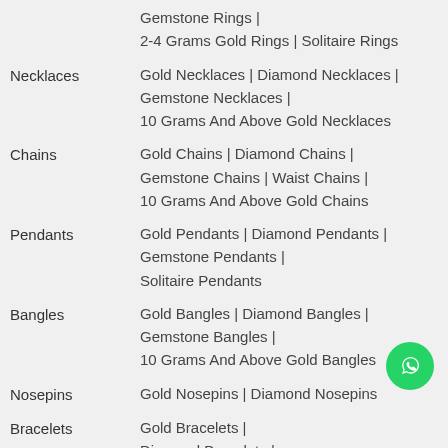Gemstone Rings | 2-4 Grams Gold Rings | Solitaire Rings
Necklaces — Gold Necklaces | Diamond Necklaces | Gemstone Necklaces | 10 Grams And Above Gold Necklaces
Chains — Gold Chains | Diamond Chains | Gemstone Chains | Waist Chains | 10 Grams And Above Gold Chains
Pendants — Gold Pendants | Diamond Pendants | Gemstone Pendants | Solitaire Pendants
Bangles — Gold Bangles | Diamond Bangles | Gemstone Bangles | 10 Grams And Above Gold Bangles
Nosepins — Gold Nosepins | Diamond Nosepins
Bracelets — Gold Bracelets | Diamond Bracelets |